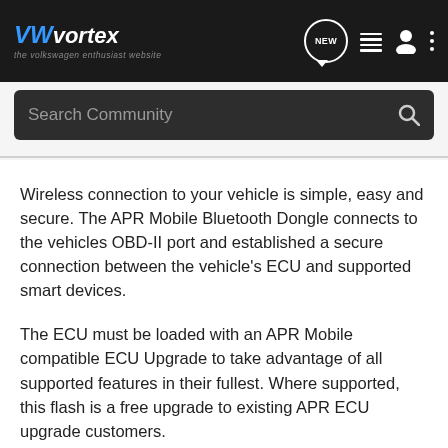VWvortex — the volkswagen enthusiast website
Search Community
Wireless connection to your vehicle is simple, easy and secure. The APR Mobile Bluetooth Dongle connects to the vehicles OBD-II port and established a secure connection between the vehicle's ECU and supported smart devices.
The ECU must be loaded with an APR Mobile compatible ECU Upgrade to take advantage of all supported features in their fullest. Where supported, this flash is a free upgrade to existing APR ECU upgrade customers.
The APR Mobile Dongle will only work for one vehicle. The app works on unlimited devices.